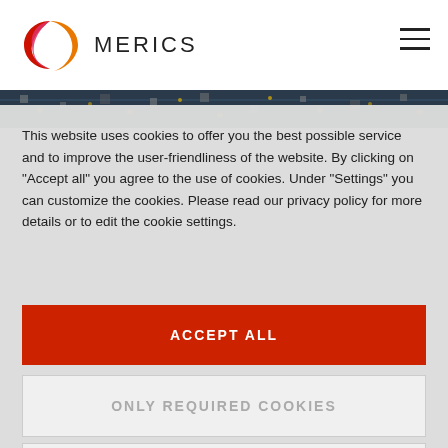[Figure (logo): MERICS logo with colorful swirl icon and brand name MERICS]
[Figure (photo): Hero image strip showing circuit board / technology close-up]
This website uses cookies to offer you the best possible service and to improve the user-friendliness of the website. By clicking on "Accept all" you agree to the use of cookies. Under "Settings" you can customize the cookies. Please read our privacy policy for more details or to edit the cookie settings.
ACCEPT ALL
ONLY REQUIRED COOKIES
SETTINGS